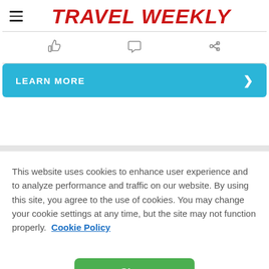TRAVEL WEEKLY
[Figure (other): Action bar with thumbs-up, comment, and share icons]
[Figure (infographic): LEARN MORE button with right arrow on teal background]
This website uses cookies to enhance user experience and to analyze performance and traffic on our website. By using this site, you agree to the use of cookies. You may change your cookie settings at any time, but the site may not function properly. Cookie Policy
[Figure (other): Green Close button]